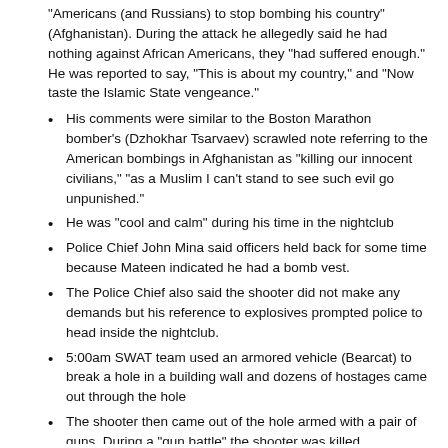“Americans (and Russians) to stop bombing his country” (Afghanistan). During the attack he allegedly said he had nothing against African Americans, they “had suffered enough.” He was reported to say, “This is about my country,” and “Now taste the Islamic State vengeance.”
His comments were similar to the Boston Marathon bomber’s (Dzhokhar Tsarvaev) scrawled note referring to the American bombings in Afghanistan as “killing our innocent civilians,” “as a Muslim I can’t stand to see such evil go unpunished.”
He was “cool and calm” during his time in the nightclub
Police Chief John Mina said officers held back for some time because Mateen indicated he had a bomb vest.
The Police Chief also said the shooter did not make any demands but his reference to explosives prompted police to head inside the nightclub.
5:00am SWAT team used an armored vehicle (Bearcat) to break a hole in a building wall and dozens of hostages came out through the hole
The shooter then came out of the hole armed with a pair of guns. During a “gun battle” the shooter was killed.
One Orlando police officer was slightly injured when a bullet stuck his Kevlar helmet.